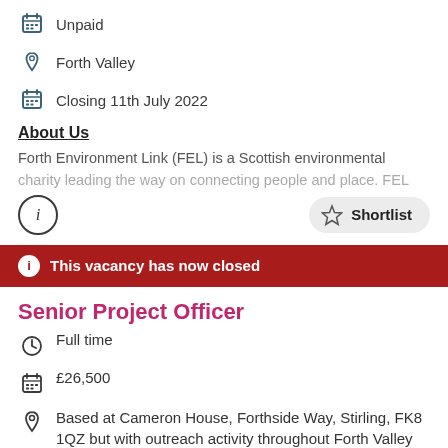Unpaid
Forth Valley
Closing 11th July 2022
About Us
Forth Environment Link (FEL) is a Scottish environmental charity leading the way on connecting people and place. FEL
This vacancy has now closed
Senior Project Officer
Full time
£26,500
Based at Cameron House, Forthside Way, Stirling, FK8 1QZ but with outreach activity throughout Forth Valley and FEL's active travel hubs. There will be some home working.